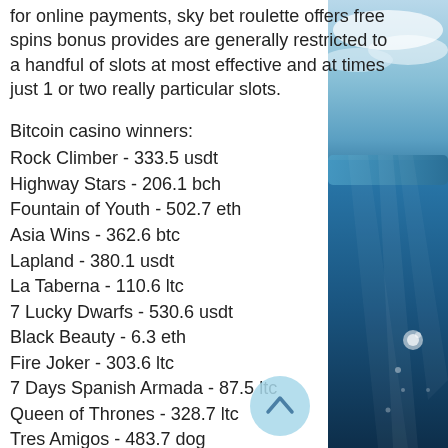for online payments, sky bet roulette offers free spins bonus provides are generally restricted to a handful of slots at most effective and at times just 1 or two really particular slots.
Bitcoin casino winners:
Rock Climber - 333.5 usdt
Highway Stars - 206.1 bch
Fountain of Youth - 502.7 eth
Asia Wins - 362.6 btc
Lapland - 380.1 usdt
La Taberna - 110.6 ltc
7 Lucky Dwarfs - 530.6 usdt
Black Beauty - 6.3 eth
Fire Joker - 303.6 ltc
7 Days Spanish Armada - 87.5 ltc
Queen of Thrones - 328.7 ltc
Tres Amigos - 483.7 dog
Harvest Fest - 681.8 dog
The Power of Ankh - 348.8 dog
[Figure (photo): Ocean/underwater scene with clouds and light rays through blue water]